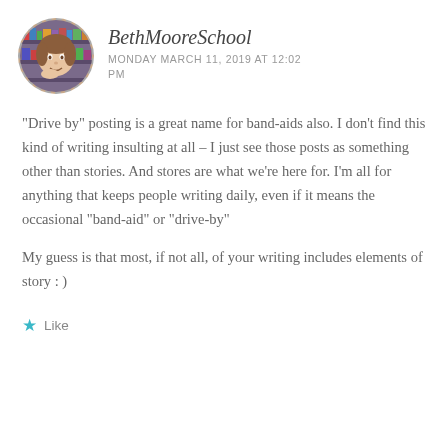BethMooreSchool
MONDAY MARCH 11, 2019 AT 12:02 PM
“Drive by” posting is a great name for band-aids also. I don’t find this kind of writing insulting at all – I just see those posts as something other than stories. And stores are what we’re here for. I’m all for anything that keeps people writing daily, even if it means the occasional “band-aid” or “drive-by”
My guess is that most, if not all, of your writing includes elements of story : )
★ Like